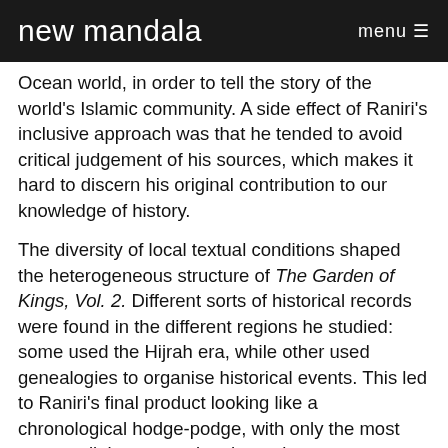new mandala   menu ≡
Ocean world, in order to tell the story of the world's Islamic community. A side effect of Raniri's inclusive approach was that he tended to avoid critical judgement of his sources, which makes it hard to discern his original contribution to our knowledge of history.
The diversity of local textual conditions shaped the heterogeneous structure of The Garden of Kings, Vol. 2. Different sorts of historical records were found in the different regions he studied: some used the Hijrah era, while other used genealogies to organise historical events. This led to Raniri's final product looking like a chronological hodge-podge, with only the most tenuous links connecting the various